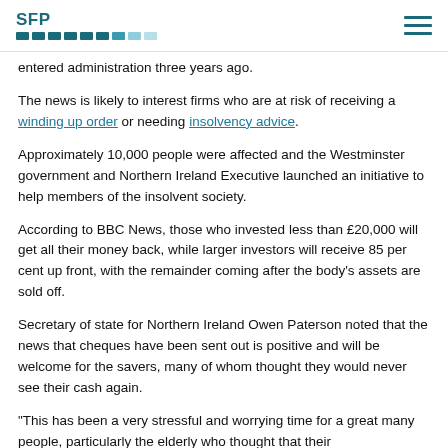SFP
entered administration three years ago.
The news is likely to interest firms who are at risk of receiving a winding up order or needing insolvency advice.
Approximately 10,000 people were affected and the Westminster government and Northern Ireland Executive launched an initiative to help members of the insolvent society.
According to BBC News, those who invested less than £20,000 will get all their money back, while larger investors will receive 85 per cent up front, with the remainder coming after the body's assets are sold off.
Secretary of state for Northern Ireland Owen Paterson noted that the news that cheques have been sent out is positive and will be welcome for the savers, many of whom thought they would never see their cash again.
"This has been a very stressful and worrying time for a great many people, particularly the elderly who thought that their